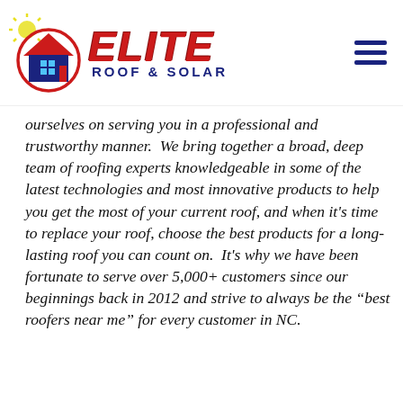[Figure (logo): Elite Roof & Solar logo with house icon on left and hamburger menu icon on right]
ourselves on serving you in a professional and trustworthy manner.  We bring together a broad, deep team of roofing experts knowledgeable in some of the latest technologies and most innovative products to help you get the most of your current roof, and when it's time to replace your roof, choose the best products for a long-lasting roof you can count on.  It's why we have been fortunate to serve over 5,000+ customers since our beginnings back in 2012 and strive to always be the “best roofers near me” for every customer in NC.